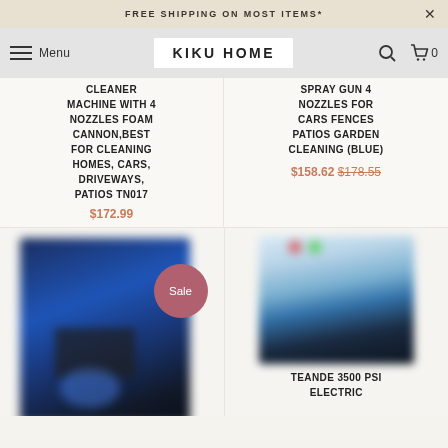FREE SHIPPING ON MOST ITEMS*
KIKU HOME
CLEANER MACHINE WITH 4 NOZZLES FOAM CANNON,BEST FOR CLEANING HOMES, CARS, DRIVEWAYS, PATIOS TN017
$172.99
SPRAY GUN 4 NOZZLES FOR CARS FENCES PATIOS GARDEN CLEANING (BLUE)
$158.62 $178.55
[Figure (photo): Blurred photo of a blue electric pressure washer with Sale badge overlay]
[Figure (photo): Blurred photo of a dark electric pressure washer with accessories]
TEANDE 3500 PSI ELECTRIC